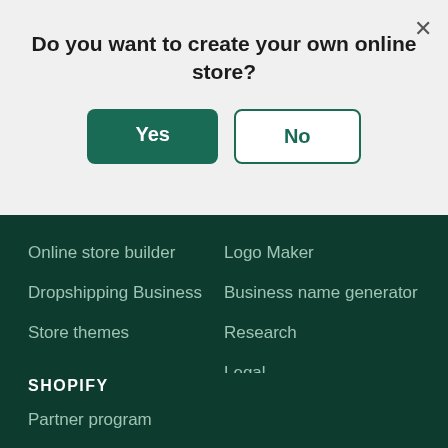Do you want to create your own online store?
Yes
No
Online store builder
Dropshipping Business
Store themes
Logo Maker
Business name generator
Research
Legal
SHOPIFY
Contact
Partner program
Affiliate program
App developers
Investors